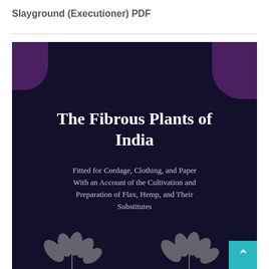Slayground (Executioner) PDF
[Figure (illustration): Book cover with dark navy/purple background featuring decorative purple corner shapes, white bold serif title 'The Fibrous Plants of India', subtitle 'Fitted for Cordage, Clothing, and Paper With an Account of the Cultivation and Preparation of Flax, Hemp, and Their Substitutes', and decorative leaf/wreath ornaments at the bottom. A teal back-to-top button appears in the lower right corner.]